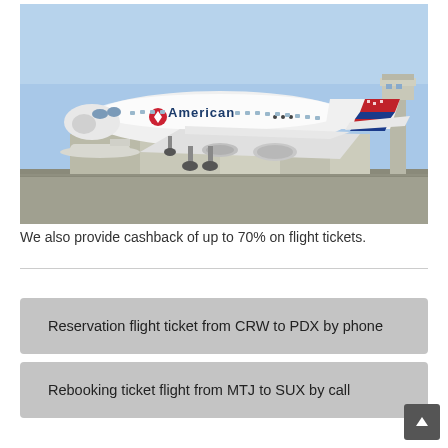[Figure (photo): American Airlines aircraft taking off or landing on a runway, with airport terminal buildings and control tower in the background. The plane is a white jet with the American Airlines logo and name visible on the fuselage, featuring a red, white, and blue striped tail.]
We also provide cashback of up to 70% on flight tickets.
Reservation flight ticket from CRW to PDX by phone
Rebooking ticket flight from MTJ to SUX by call